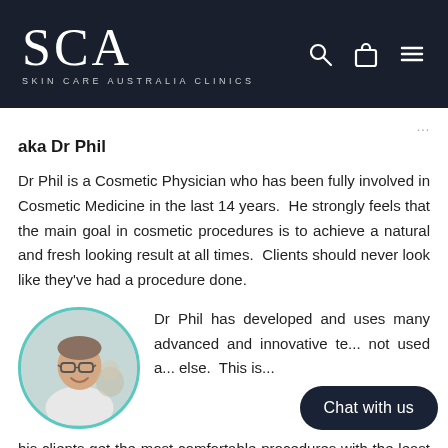SCA SKIN CARE AUSTRALIA CLINICS
aka Dr Phil
Dr Phil is a Cosmetic Physician who has been fully involved in Cosmetic Medicine in the last 14 years. He strongly feels that the main goal in cosmetic procedures is to achieve a natural and fresh looking result at all times. Clients should never look like they've had a procedure done.
[Figure (photo): Circular portrait photo of Dr Phil, a man wearing glasses and a light shirt, smiling, with teal/mint circular border]
Dr Phil has developed and uses many advanced and innovative te... not used a... else. This is...
his clients get the most comfortable procedures with the least amount of